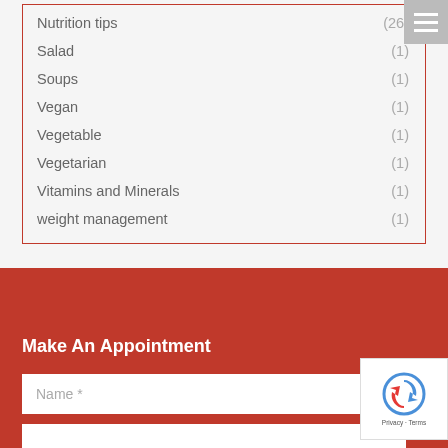Nutrition tips (26)
Salad (1)
Soups (1)
Vegan (1)
Vegetable (1)
Vegetarian (1)
Vitamins and Minerals (1)
weight management (1)
Make An Appointment
Name *